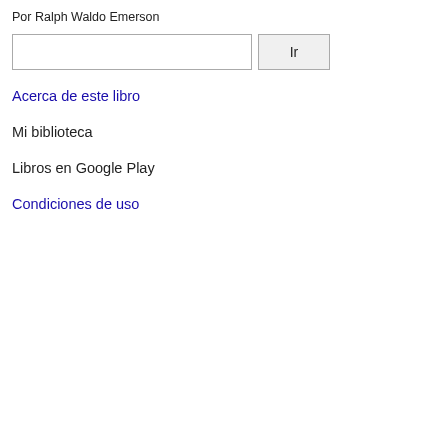Por Ralph Waldo Emerson
Acerca de este libro
Mi biblioteca
Libros en Google Play
Condiciones de uso
et men of cloth Bow to the stalw low-prized laymen. In sooth red you, master, fumbling at the oar basket-maker's thumb; The oar, t foxes, Tell the sun's time, determ thread by night the nearest way t Ask you, how went the hou All day we swept the lake, s North from Camp Maple, so Watching when the loud do Or whipping its rough surfa Or bathers, diving from the Challenging Echo by our gu Or listening to the laughter Or, in the evening twilight's Beholding the procession o Or, later yet, beneath a light In the boat's bows, a silent r Stealing with paddle to the Of the red deer, to aim at a s Hark to that muffled roar! a Is fallen : but hush! it has n Who stands astonished at th